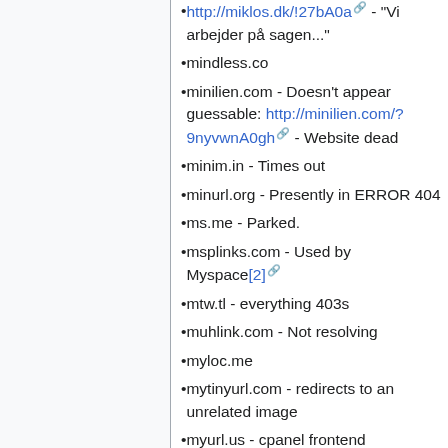http://miklos.dk/!27bA0a - "Vi arbejder på sagen..."
mindless.co
minilien.com - Doesn't appear guessable: http://minilien.com/?9nyvwnA0gh - Website dead
minim.in - Times out
minurl.org - Presently in ERROR 404
ms.me - Parked.
msplinks.com - Used by Myspace[2]
mtw.tl - everything 403s
muhlink.com - Not resolving
myloc.me
mytinyurl.com - redirects to an unrelated image
myurl.us - cpanel frontend
myurl.in
myv.bz - Not resolving
nyturl.com - NY Times (bonus points